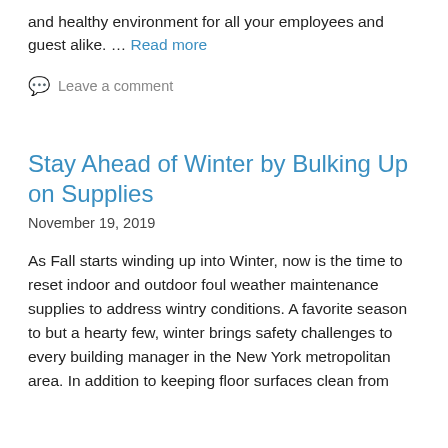and healthy environment for all your employees and guest alike. … Read more
Leave a comment
Stay Ahead of Winter by Bulking Up on Supplies
November 19, 2019
As Fall starts winding up into Winter, now is the time to reset indoor and outdoor foul weather maintenance supplies to address wintry conditions. A favorite season to but a hearty few, winter brings safety challenges to every building manager in the New York metropolitan area. In addition to keeping floor surfaces clean from